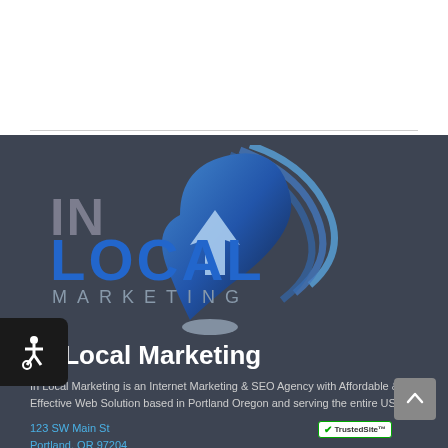[Figure (logo): IN Local Marketing logo with blue text and location pin graphic on dark background]
IN Local Marketing
In Local Marketing is an Internet Marketing & SEO Agency with Affordable & Effective Web Solution based in Portland Oregon and serving the entire US.
123 SW Main St
Portland, OR 97204